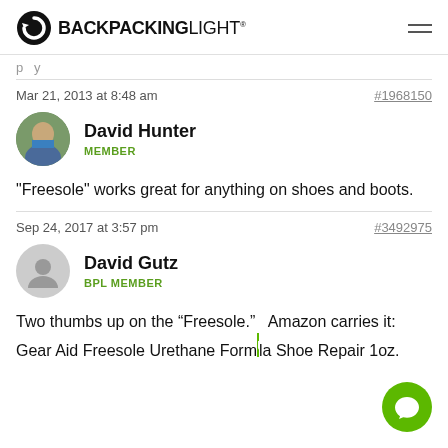BACKPACKINGLIGHT
Mar 21, 2013 at 8:48 am  #1968150
David Hunter
MEMBER
"Freesole" works great for anything on shoes and boots.
Sep 24, 2017 at 3:57 pm  #3492975
David Gutz
BPL MEMBER
Two thumbs up on the “Freesole.”   Amazon carries it:  Gear Aid Freesole Urethane Formula Shoe Repair 1oz.